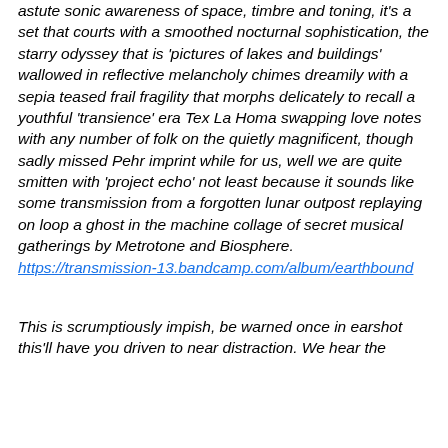astute sonic awareness of space, timbre and toning, it's a set that courts with a smoothed nocturnal sophistication, the starry odyssey that is 'pictures of lakes and buildings' wallowed in reflective melancholy chimes dreamily with a sepia teased frail fragility that morphs delicately to recall a youthful 'transience' era Tex La Homa swapping love notes with any number of folk on the quietly magnificent, though sadly missed Pehr imprint while for us, well we are quite smitten with 'project echo' not least because it sounds like some transmission from a forgotten lunar outpost replaying on loop a ghost in the machine collage of secret musical gatherings by Metrotone and Biosphere. https://transmission-13.bandcamp.com/album/earthbound
This is scrumptiously impish, be warned once in earshot this'll have you driven to near distraction. We hear the